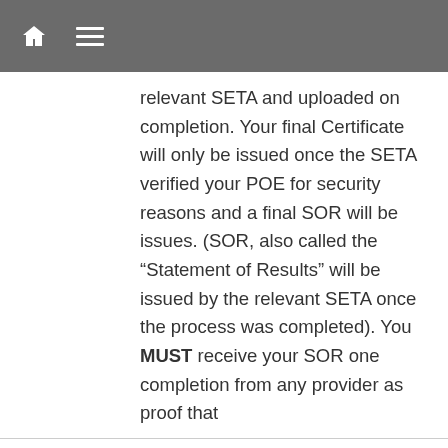Navigation bar with home and menu icons
relevant SETA and uploaded on completion. Your final Certificate will only be issued once the SETA verified your POE for security reasons and a final SOR will be issues. (SOR, also called the “Statement of Results” will be issued by the relevant SETA once the process was completed). You MUST receive your SOR one completion from any provider as proof that
We use cookies on our website to give you the most relevant experience by remembering your preferences and repeat visits. By clicking “Accept All”, you consent to the use of ALL the cookies. However, you may visit "Cookie Settings" to provide a controlled consent.
Cookie Settings | Accept All